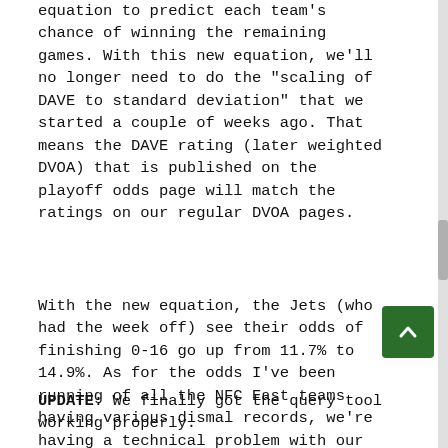equation to predict each team's chance of winning the remaining games. With this new equation, we'll no longer need to do the "scaling of DAVE to standard deviation" that we started a couple of weeks ago. That means the DAVE rating (later weighted DVOA) that is published on the playoff odds page will match the ratings on our regular DVOA pages.
With the new equation, the Jets (who had the week off) see their odds of finishing 0-16 go up from 11.7% to 14.9%. As for the odds I've been running of all the NFC East teams having various dismal records, we're having a technical problem with our query tool today but I'll try to post those odds here once we get things cleared up.
UPDATE: We finally got the query tool working properly.